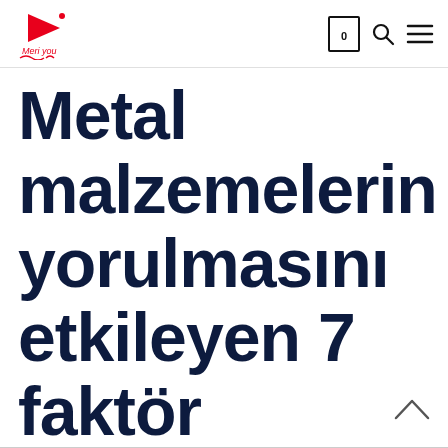Meri you [logo] | cart 0 | search | menu
Metal malzemelerin yorulmasını etkileyen 7 faktör